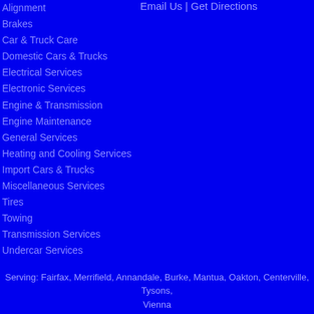Alignment
Brakes
Car & Truck Care
Domestic Cars & Trucks
Electrical Services
Electronic Services
Engine & Transmission
Engine Maintenance
General Services
Heating and Cooling Services
Import Cars & Trucks
Miscellaneous Services
Tires
Towing
Transmission Services
Undercar Services
Email Us | Get Directions
Serving: Fairfax, Merrifield, Annandale, Burke, Mantua, Oakton, Centerville, Tysons, Vienna